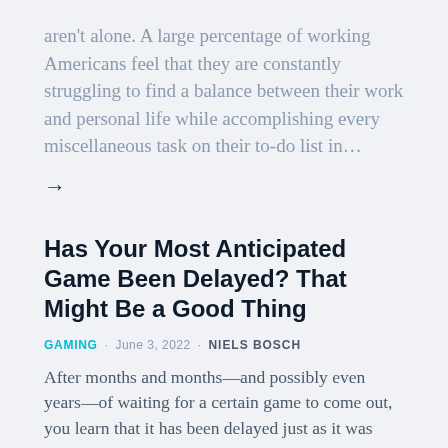aren't alone. A large percentage of working Americans feel that they are constantly struggling to find a balance between their work and personal life while accomplishing every miscellaneous task on their to-do list in…
→
Has Your Most Anticipated Game Been Delayed? That Might Be a Good Thing
GAMING · June 3, 2022 · NIELS BOSCH
After months and months—and possibly even years—of waiting for a certain game to come out, you learn that it has been delayed just as it was about to release. This can be incredibly frustrating as a gamer, but it's actually beneficial to the game in the long run. While delays have become so frequent that…